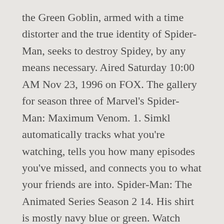the Green Goblin, armed with a time distorter and the true identity of Spider-Man, seeks to destroy Spidey, by any means necessary. Aired Saturday 10:00 AM Nov 23, 1996 on FOX. The gallery for season three of Marvel's Spider-Man: Maximum Venom. 1. Simkl automatically tracks what you're watching, tells you how many episodes you've missed, and connects you to what your friends are into. Spider-Man: The Animated Series Season 2 14. His shirt is mostly navy blue or green. Watch Spider-Man: The Animated Series season 3 episode 14 Online Turning Point : Peter Parker and Mary Jane are finally a couple, but there happiness is short-lived as the Green Goblin, armed with a time distorter and the true identity of Spid...